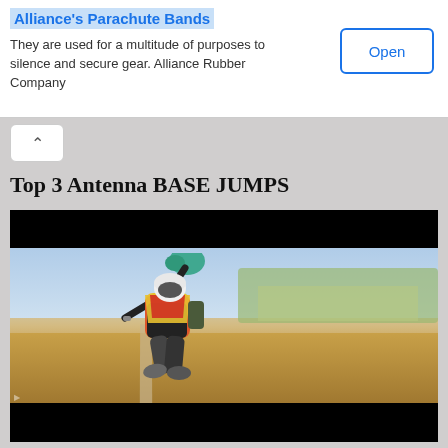Alliance's Parachute Bands — They are used for a multitude of purposes to silence and secure gear. Alliance Rubber Company
Open
Top 3 Antenna BASE JUMPS
[Figure (photo): A BASE jumper mid-air holding a teal/green deployment bag above their head, wearing a yellow and red vest over black clothes, white helmet, with aerial view of agricultural fields (green, brown, and golden) below. Black bars at top and bottom of video frame.]